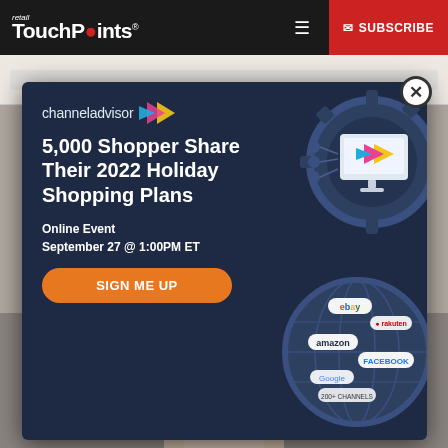retail TouchPoints® — SUBSCRIBE
[Figure (screenshot): ChannelAdvisor advertisement modal popup on Retail TouchPoints website showing '5,000 Shopper Share Their 2022 Holiday Shopping Plans' online event on September 27 at 1:00PM ET with a Sign Me Up button and globe/gear illustration with marketplace logos (ebay, amazon, Facebook, Google, 200+ channels)]
5,000 Shopper Share Their 2022 Holiday Shopping Plans
Online Event
September 27 @ 1:00PM ET
SIGN ME UP